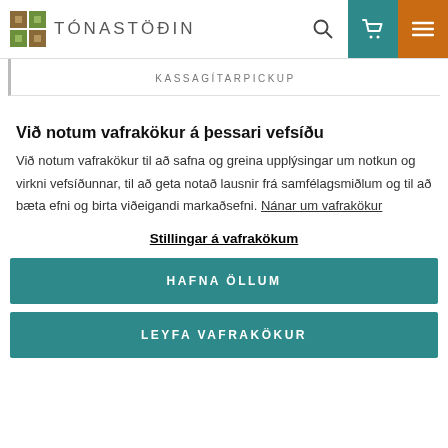[Figure (logo): Tónastöðin logo with decorative mosaic icon and text TÓNASTÖÐIN]
KASSAGÍTARPICKUP
Við notum vafrakökur á þessari vefsíðu
Við notum vafrakökur til að safna og greina upplýsingar um notkun og virkni vefsíðunnar, til að geta notað lausnir frá samfélagsmiðlum og til að bæta efni og birta viðeigandi markaðsefni. Nánar um vafrakökur
Stillingar á vafrakökum
HAFNA ÖLLUM
LEYFA VAFRAKÖKUR